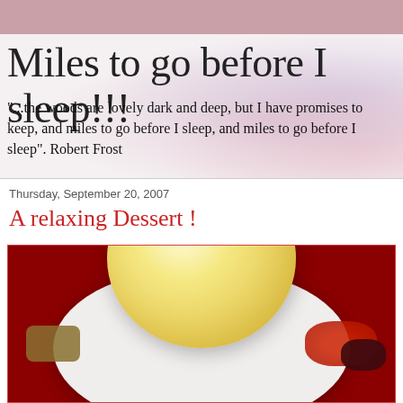Miles to go before I sleep!!!
"...the woods are lovely dark and deep, but I have promises to keep, and miles to go before I sleep, and miles to go before I sleep". Robert Frost
Thursday, September 20, 2007
A relaxing Dessert !
[Figure (photo): A white bowl containing a large scoop of vanilla ice cream with a golden-yellow tint, surrounded by mixed fruit cobbler with dark berries and red cherries, on a deep red background.]